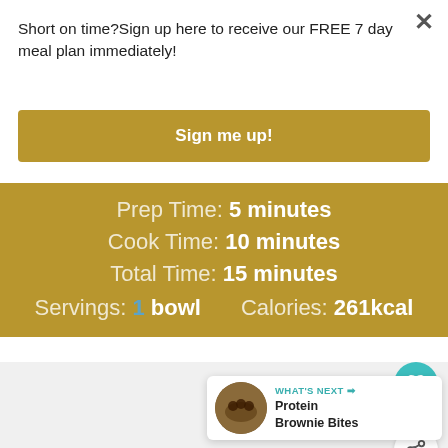Short on time? Sign up here to receive our FREE 7 day meal plan immediately!
Sign me up!
Prep Time: 5 minutes
Cook Time: 10 minutes
Total Time: 15 minutes
Servings: 1 bowl  Calories: 261kcal
WHAT'S NEXT → Protein Brownie Bites